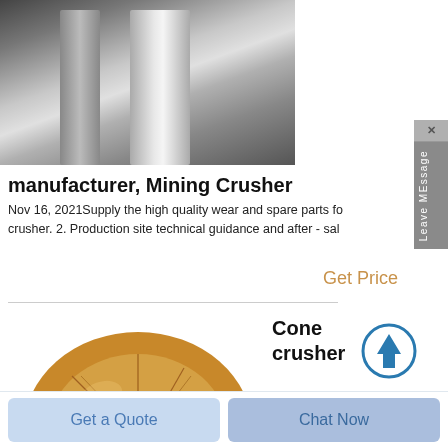[Figure (photo): Close-up photo of a metallic cylindrical crusher component with reflective surface, grey tones]
manufacturer, Mining Crusher
Nov 16, 2021Supply the high quality wear and spare parts fo... crusher. 2. Production site technical guidance and after - sal...
Get Price
[Figure (photo): Bronze/gold colored cone crusher wear part - a donut-shaped ring with geometric faceted surface pattern]
Cone crusher parts
Cone crusher wear parts...
Get Price
Get a Quote
Chat Now